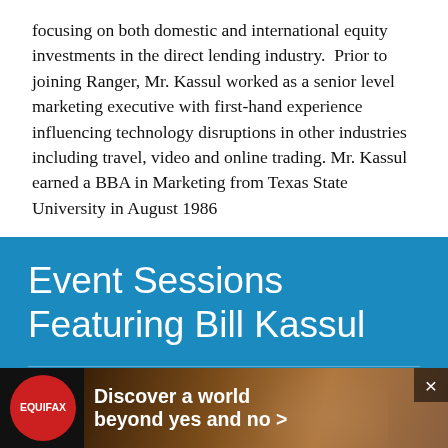focusing on both domestic and international equity investments in the direct lending industry.  Prior to joining Ranger, Mr. Kassul worked as a senior level marketing executive with first-hand experience influencing technology disruptions in other industries including travel, video and online trading. Mr. Kassul earned a BBA in Marketing from Texas State University in August 1986
Event Sessions Featuring Bill Kassul
Accessing balance sheet portfolios
[Figure (other): People/group icon (white silhouettes of three people on blue background)]
AltFi ... Panel 2018
[Figure (other): Advertisement banner: Equifax logo on red circle, text 'Discover a world beyond yes and no >' on dark background with hand/coins image]